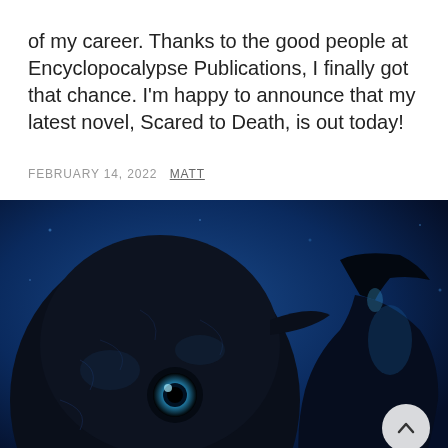of my career. Thanks to the good people at Encyclopocalypse Publications, I finally got that chance. I'm happy to announce that my latest novel, Scared to Death, is out today!
FEBRUARY 14, 2022  MATT
[Figure (photo): Dark blue-toned book cover art showing two black bird-like or animal figures against a deep blue background, one with a visible glowing eye. The image extends to the bottom of the page with a scroll-up button in the bottom right corner.]